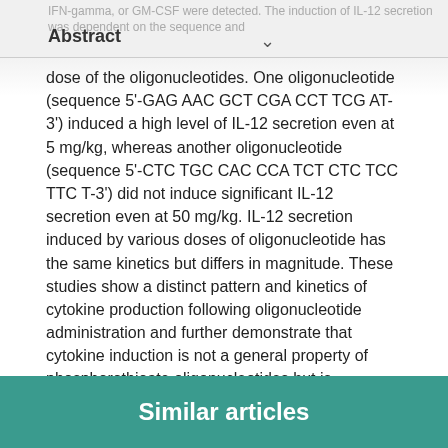Abstract
dose of the oligonucleotides. One oligonucleotide (sequence 5'-GAG AAC GCT CGA CCT TCG AT-3') induced a high level of IL-12 secretion even at 5 mg/kg, whereas another oligonucleotide (sequence 5'-CTC TGC CAC CCA TCT CTC TCC TTC T-3') did not induce significant IL-12 secretion even at 50 mg/kg. IL-12 secretion induced by various doses of oligonucleotide has the same kinetics but differs in magnitude. These studies show a distinct pattern and kinetics of cytokine production following oligonucleotide administration and further demonstrate that cytokine induction is not a general property of phosphorothioate oligonucleotides but is dependent on the sequence and dose of the oligonucleotides.
Similar articles